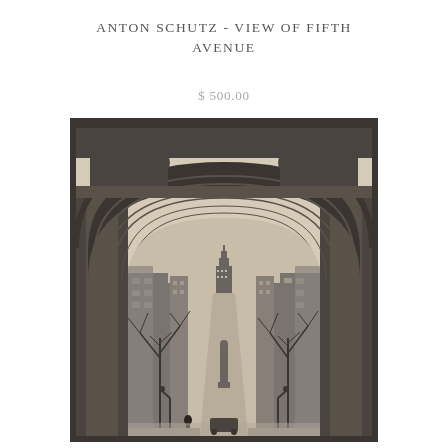ANTON SCHUTZ - VIEW OF FIFTH AVENUE
$ 500.00
[Figure (illustration): Black and white etching/print by Anton Schutz showing a view of Fifth Avenue in New York City through the Washington Square Arch. The ornate arch with decorative carvings frames a perspective view of the avenue with tall buildings on both sides, bare trees, street lamps, a distant tower (Empire State Building), and a few pedestrians on the street below.]